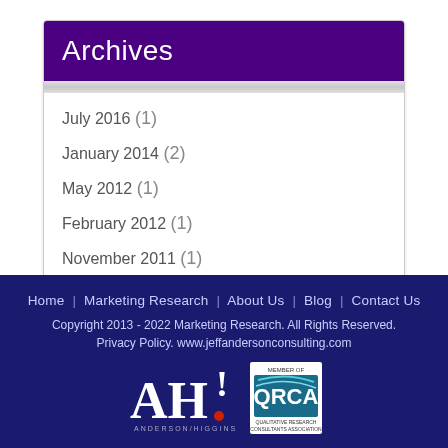Archives
July 2016 (1)
January 2014 (2)
May 2012 (1)
February 2012 (1)
November 2011 (1)
Home | Marketing Research | About Us | Blog | Contact Us
Copyright 2013 - 2022 Marketing Research. All Rights Reserved. Privacy Policy. www.jeffandersonconsulting.com